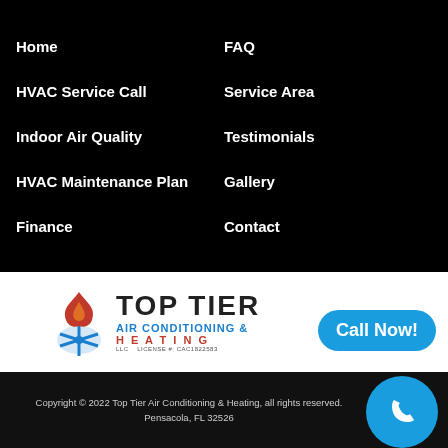Home
FAQ
HVAC Service Call
Service Area
Indoor Air Quality
Testimonials
HVAC Maintenance Plan
Gallery
Finance
Contact
[Figure (logo): Top Tier Air Conditioning & Heating logo with flame and snowflake icon]
Call Now!
Copyright © 2022 Top Tier Air Conditioning & Heating, all rights reserved. Pensacola, FL 32526